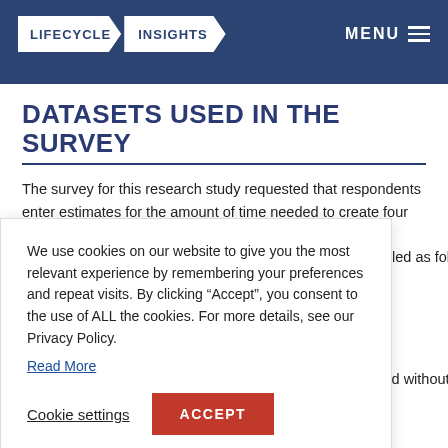LIFECYCLE INSIGHTS  MENU
DATASETS USED IN THE SURVEY
The survey for this research study requested that respondents enter estimates for the amount of time needed to create four different engineering datasets, defined as follows. [partial, obscured by cookie popup] ...released without...
We use cookies on our website to give you the most relevant experience by remembering your preferences and repeat visits. By clicking “Accept”, you consent to the use of ALL the cookies. For more details, see our Privacy Policy. Read More
Cookie settings  ACCEPT
Drawing